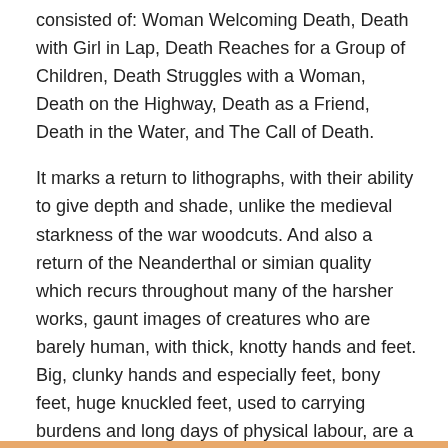consisted of: Woman Welcoming Death, Death with Girl in Lap, Death Reaches for a Group of Children, Death Struggles with a Woman, Death on the Highway, Death as a Friend, Death in the Water, and The Call of Death.
It marks a return to lithographs, with their ability to give depth and shade, unlike the medieval starkness of the war woodcuts. And also a return of the Neanderthal or simian quality which recurs throughout many of the harsher works, gaunt images of creatures who are barely human, with thick, knotty hands and feet. Big, clunky hands and especially feet, bony feet, huge knuckled feet, used to carrying burdens and long days of physical labour, are a trademark feature of her work, even in so ‘tender’ an image as Woman holding a dead child, the knees and feet are prominent and brutal.